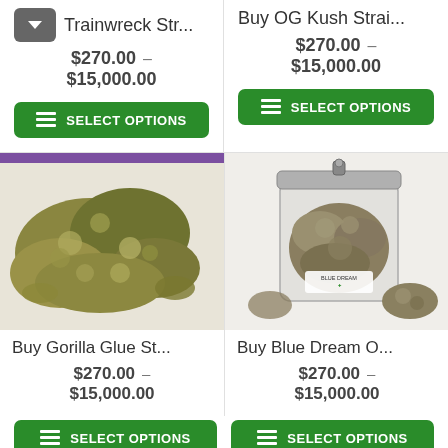Trainwreck Str...
$270.00 – $15,000.00
SELECT OPTIONS
Buy OG Kush Strai...
$270.00 – $15,000.00
SELECT OPTIONS
[Figure (photo): Gorilla Glue cannabis strain buds spread on white surface]
Buy Gorilla Glue St...
$270.00 – $15,000.00
[Figure (photo): Blue Dream cannabis strain buds in a clear glass jar with label]
Buy Blue Dream O...
$270.00 – $15,000.00